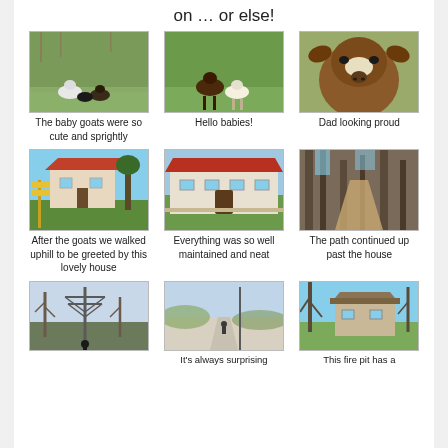on … or else!
[Figure (photo): Baby goats on grass]
The baby goats were so cute and sprightly
[Figure (photo): Two baby goats on grass]
Hello babies!
[Figure (photo): Dad goat looking at camera]
Dad looking proud
[Figure (photo): Farmhouse with yellow signs and trees]
After the goats we walked uphill to be greeted by this lovely house
[Figure (photo): Farmhouse with red roof well maintained]
Everything was so well maintained and neat
[Figure (photo): Forest path going uphill]
The path continued up past the house
[Figure (photo): Power line tower with bare trees]
[Figure (photo): Snowy path with person walking]
It's always surprising
[Figure (photo): Rural house with bare trees]
This fire pit has a